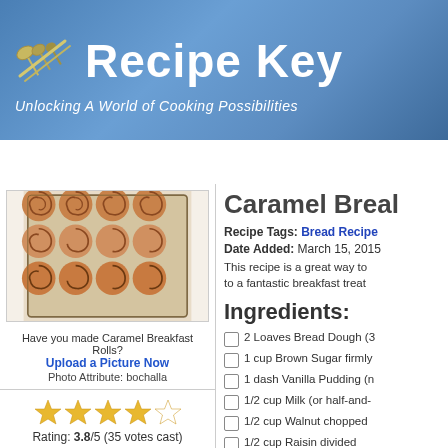[Figure (logo): Recipe Key logo with measuring spoons/utensils icon and text 'Recipe Key' with subtitle 'Unlocking A World of Cooking Possibilities']
HOME | MY PANTRY | MY FOOD PROFILE | BROWSE RECIPE
[Figure (photo): Photo of caramel breakfast rolls (cinnamon rolls) in a glass baking dish, arranged in a 4x3 grid]
Have you made Caramel Breakfast Rolls?
Upload a Picture Now
Photo Attribute: bochalla
Rating: 3.8/5 (35 votes cast)
Caramel Breal
Recipe Tags: Bread Recipe
Date Added: March 15, 2015
This recipe is a great way to to a fantastic breakfast treat
Ingredients:
2 Loaves Bread Dough (3
1 cup Brown Sugar firmly
1 dash Vanilla Pudding (n
1/2 cup Milk (or half-and-
1/2 cup Walnut chopped
1/2 cup Raisin divided